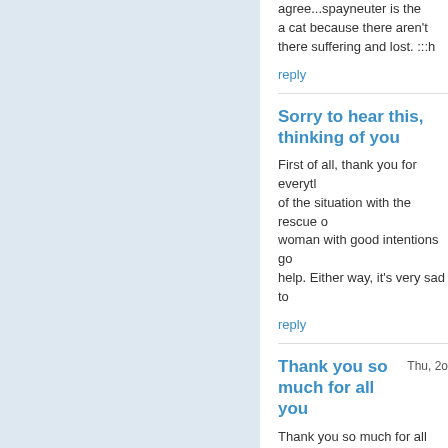agree...spayneuter is the... a cat because there aren't there suffering and lost. :::h
reply
Sorry to hear this, thinking of you
First of all, thank you for everyt... of the situation with the rescue o... woman with good intentions go... help. Either way, it's very sad to...
reply
Thank you so much for all you
Thu, 20
Thank you so much for all you d... untrustworthy invididuals and o... a good idea - you would be able... has fooled a lot of people.